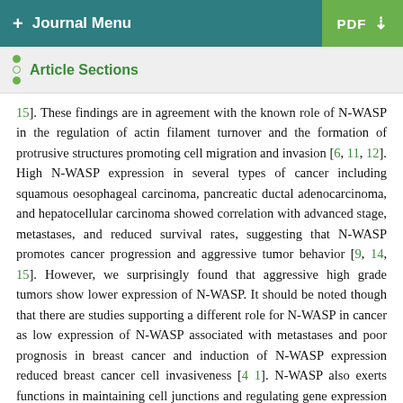+ Journal Menu   PDF ↓
Article Sections
15]. These findings are in agreement with the known role of N-WASP in the regulation of actin filament turnover and the formation of protrusive structures promoting cell migration and invasion [6, 11, 12]. High N-WASP expression in several types of cancer including squamous oesophageal carcinoma, pancreatic ductal adenocarcinoma, and hepatocellular carcinoma showed correlation with advanced stage, metastases, and reduced survival rates, suggesting that N-WASP promotes cancer progression and aggressive tumor behavior [9, 14, 15]. However, we surprisingly found that aggressive high grade tumors show lower expression of N-WASP. It should be noted though that there are studies supporting a different role for N-WASP in cancer as low expression of N-WASP associated with metastases and poor prognosis in breast cancer and induction of N-WASP expression reduced breast cancer cell invasiveness [41]. N-WASP also exerts functions in maintaining cell junctions and regulating gene expression [42, 43]. Consistent with studies